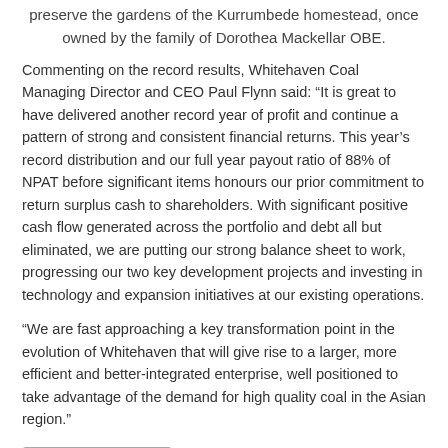preserve the gardens of the Kurrumbede homestead, once owned by the family of Dorothea Mackellar OBE.
Commenting on the record results, Whitehaven Coal Managing Director and CEO Paul Flynn said: “It is great to have delivered another record year of profit and continue a pattern of strong and consistent financial returns. This year’s record distribution and our full year payout ratio of 88% of NPAT before significant items honours our prior commitment to return surplus cash to shareholders. With significant positive cash flow generated across the portfolio and debt all but eliminated, we are putting our strong balance sheet to work, progressing our two key development projects and investing in technology and expansion initiatives at our existing operations.
“We are fast approaching a key transformation point in the evolution of Whitehaven that will give rise to a larger, more efficient and better-integrated enterprise, well positioned to take advantage of the demand for high quality coal in the Asian region.”
Save to read list
This article has been tagged under the following: